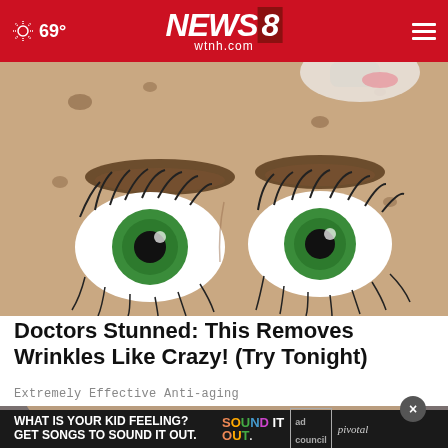NEWS8 wtnh.com — 69°
[Figure (illustration): Cartoon/illustration of a close-up woman's face with exaggerated green eyes, long eyelashes, thick eyebrows, skin blemishes, and a cosmetic cream being applied to the forehead area]
Doctors Stunned: This Removes Wrinkles Like Crazy! (Try Tonight)
Extremely Effective Anti-aging
[Figure (photo): Partial photo of a person's face/forehead, partially obscured by an advertisement overlay]
WHAT IS YOUR KID FEELING? GET SONGS TO SOUND IT OUT. SOUND IT OUT — ad council pivotal